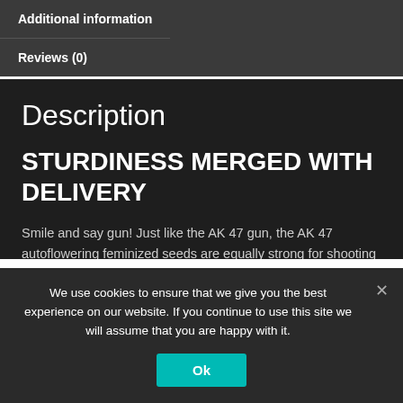Additional information
Reviews (0)
Description
STURDINESS MERGED WITH DELIVERY
Smile and say gun! Just like the AK 47 gun, the AK 47 autoflowering feminized seeds are equally strong for shooting away any mental bothers from the user. She packs an epitome of stability, where her buds get
We use cookies to ensure that we give you the best experience on our website. If you continue to use this site we will assume that you are happy with it.